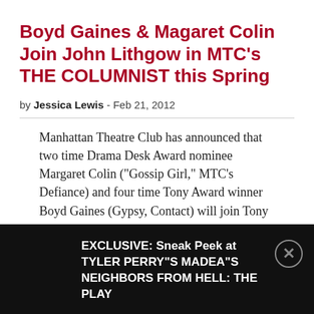Boyd Gaines & Magaret Colin Join John Lithgow in MTC's THE COLUMNIST this Spring
by Jessica Lewis - Feb 21, 2012
Manhattan Theatre Club has announced that two time Drama Desk Award nominee Margaret Colin ("Gossip Girl," MTC's Defiance) and four time Tony Award winner Boyd Gaines (Gypsy, Contact) will join Tony and Emmy Award winner John Lithgow in the cast of the world
EXCLUSIVE: Sneak Peek at TYLER PERRY"S MADEA"S NEIGHBORS FROM HELL: THE PLAY